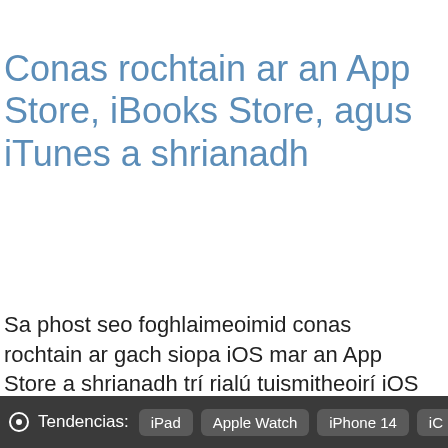Conas rochtain ar an App Store, iBooks Store, agus iTunes a shrianadh
Sa phost seo foghlaimeoimid conas rochtain ar gach siopa iOS mar an App Store a shrianadh trí rialú tuismitheoirí iOS
Tendencias: iPad  Apple Watch  iPhone 14  iC